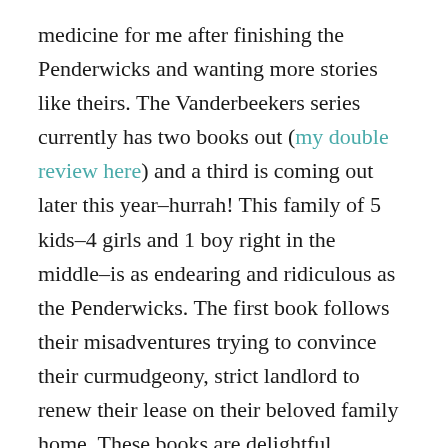medicine for me after finishing the Penderwicks and wanting more stories like theirs. The Vanderbeekers series currently has two books out (my double review here) and a third is coming out later this year–hurrah! This family of 5 kids–4 girls and 1 boy right in the middle–is as endearing and ridiculous as the Penderwicks. The first book follows their misadventures trying to convince their curmudgeony, strict landlord to renew their lease on their beloved family home. These books are delightful, hilarious, and heart warming. Another great series to read aloud!
The Pevensies // A list about siblings would be incomplete without a reference to these Narnian